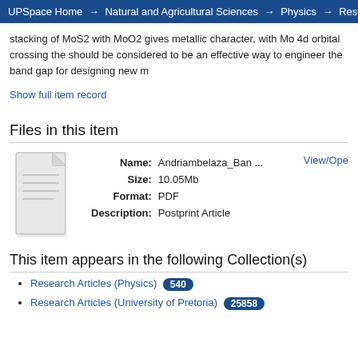UPSpace Home → Natural and Agricultural Sciences → Physics → Research Ar
stacking of MoS2 with MoO2 gives metallic character, with Mo 4d orbital crossing th... should be considered to be an effective way to engineer the band gap for designing new m...
Show full item record
Files in this item
[Figure (illustration): Generic document/file icon - white page with folded top-right corner]
| Field | Value |
| --- | --- |
| Name: | Andriambelaza_Ban ... |
| Size: | 10.05Mb |
| Format: | PDF |
| Description: | Postprint Article |
This item appears in the following Collection(s)
Research Articles (Physics) 540
Research Articles (University of Pretoria) 25858